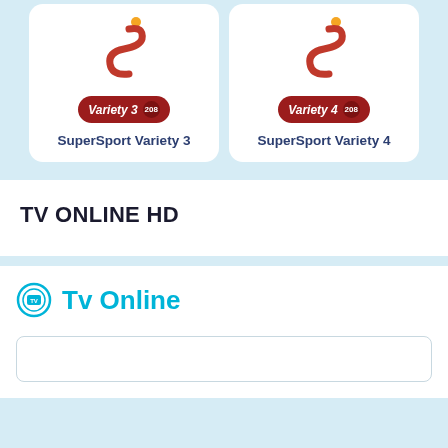[Figure (logo): SuperSport Variety 3 channel card with S logo and red pill badge showing Variety 3 208]
SuperSport Variety 3
[Figure (logo): SuperSport Variety 4 channel card with S logo and red pill badge showing Variety 4 208]
SuperSport Variety 4
TV ONLINE HD
Tv Online